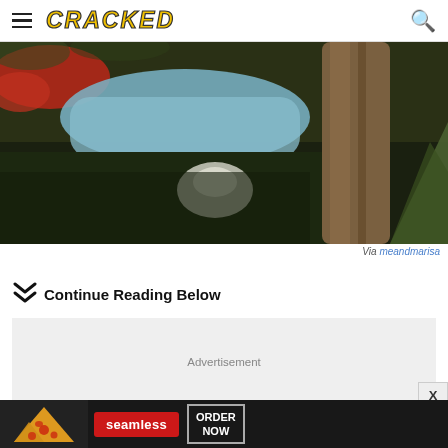CRACKED
[Figure (photo): Outdoor scene showing people sleeping/resting on the ground with a blue blanket, red clothing, a white plastic bag, and a tent visible with large tree trunk in background]
Via meandmarisa
Continue Reading Below
[Figure (other): Advertisement placeholder box with light gray background]
[Figure (other): Bottom banner advertisement for Seamless food delivery showing pizza image, Seamless logo, and ORDER NOW button]